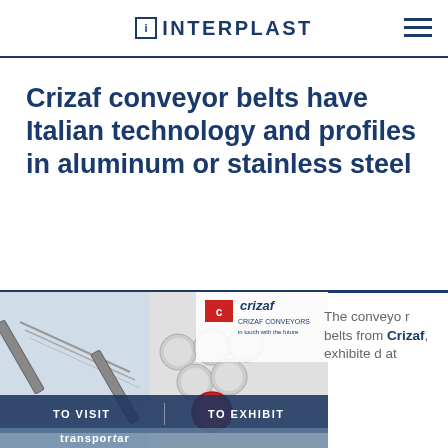INTERPLAST
Crizaf conveyor belts have Italian technology and profiles in aluminum or stainless steel
[Figure (photo): Composite image showing Crizaf conveyor belt systems including a metal conveyor frame, stainless steel ball bearings, and the Crizaf logo with tagline 'CRIZAF CONVEYORS in touch with the future']
The conveyor belts from Crizaf, exhibited at